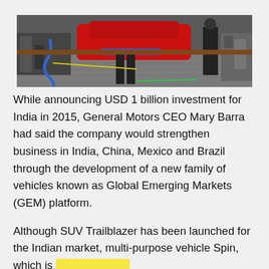[Figure (photo): A photograph of an automobile manufacturing/assembly plant interior, showing workers near a red vehicle body on an assembly line, with industrial equipment and checkered metal flooring visible.]
While announcing USD 1 billion investment for India in 2015, General Motors CEO Mary Barra had said the company would strengthen business in India, China, Mexico and Brazil through the development of a new family of vehicles known as Global Emerging Markets (GEM) platform.
Although SUV Trailblazer has been launched for the Indian market, multi-purpose vehicle Spin, which is